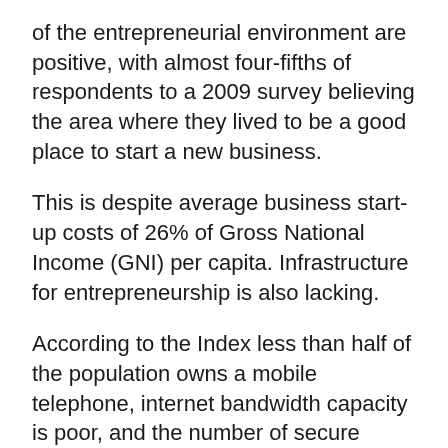of the entrepreneurial environment are positive, with almost four-fifths of respondents to a 2009 survey believing the area where they lived to be a good place to start a new business.
This is despite average business start-up costs of 26% of Gross National Income (GNI) per capita. Infrastructure for entrepreneurship is also lacking.
According to the Index less than half of the population owns a mobile telephone, internet bandwidth capacity is poor, and the number of secure internet servers per capita is low.
While group-based inequality in economic